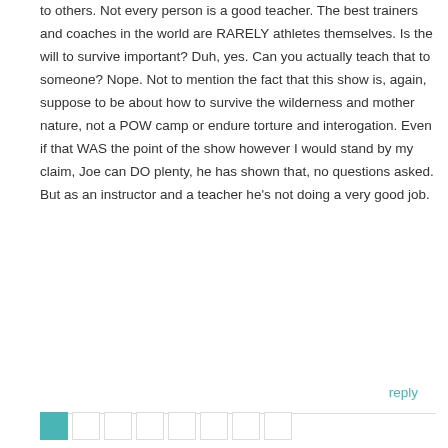to others. Not every person is a good teacher. The best trainers and coaches in the world are RARELY athletes themselves. Is the will to survive important? Duh, yes. Can you actually teach that to someone? Nope. Not to mention the fact that this show is, again, suppose to be about how to survive the wilderness and mother nature, not a POW camp or endure torture and interogation. Even if that WAS the point of the show however I would stand by my claim, Joe can DO plenty, he has shown that, no questions asked. But as an instructor and a teacher he's not doing a very good job.
reply